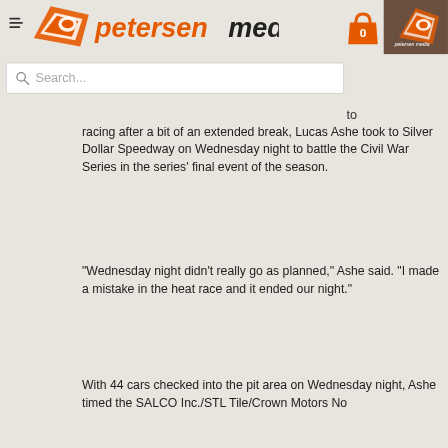[Figure (logo): Petersen Media logo with stylized P icon and orange/dark text reading 'petersenmedia']
[Figure (screenshot): Small Petersen Media logo thumbnail in top right corner]
to racing after a bit of an extended break, Lucas Ashe took to Silver Dollar Speedway on Wednesday night to battle the Civil War Series in the series' final event of the season.
"Wednesday night didn't really go as planned," Ashe said. "I made a mistake in the heat race and it ended our night."
With 44 cars checked into the pit area on Wednesday night, Ashe timed the SALCO Inc./STL Tile/Crown Motors No